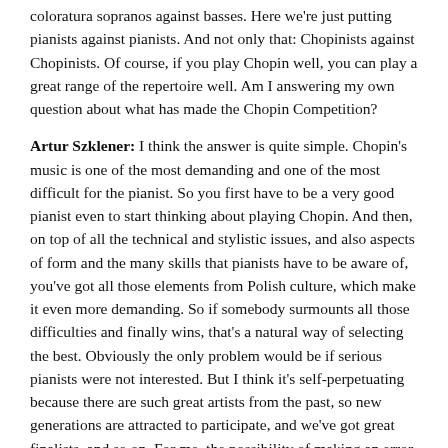coloratura sopranos against basses. Here we're just putting pianists against pianists. And not only that: Chopinists against Chopinists. Of course, if you play Chopin well, you can play a great range of the repertoire well. Am I answering my own question about what has made the Chopin Competition?
Artur Szklener: I think the answer is quite simple. Chopin's music is one of the most demanding and one of the most difficult for the pianist. So you first have to be a very good pianist even to start thinking about playing Chopin. And then, on top of all the technical and stylistic issues, and also aspects of form and the many skills that pianists have to be aware of, you've got all those elements from Polish culture, which make it even more demanding. So if somebody surmounts all those difficulties and finally wins, that's a natural way of selecting the best. Obviously the only problem would be if serious pianists were not interested. But I think it's self-perpetuating because there are such great artists from the past, so new generations are attracted to participate, and we've got great finalists, and so on. For me, the possibility of making an error – that not such a good artist wins the competition – is very small. Not because there is some magic here, but because of the inherent features of Chopin's music.
Peter Paul Kainrath: This monographic character underlines for me one very important aspect related to the competition: that you go to play there